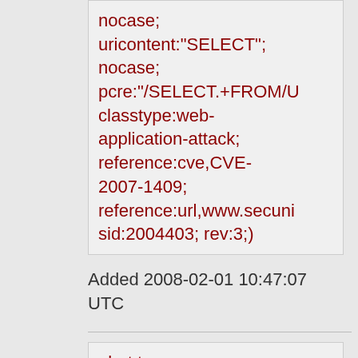nocase; uricontent:"SELECT"; nocase; pcre:"/SELECT.+FROM/U classtype:web-application-attack; reference:cve,CVE-2007-1409; reference:url,www.secuni sid:2004403; rev:3;)
Added 2008-02-01 10:47:07 UTC
alert tcp $EXTERNAL_NET any -> $HTTP_SERVERS $HTTP_PORTS (msg:"BLEEDING-